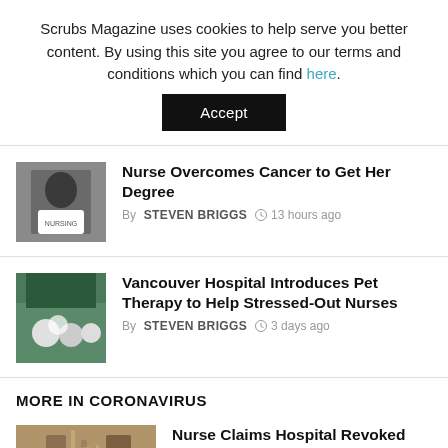Scrubs Magazine uses cookies to help serve you better content. By using this site you agree to our terms and conditions which you can find here.
Accept
Nurse Overcomes Cancer to Get Her Degree
By STEVEN BRIGGS  13 hours ago
Vancouver Hospital Introduces Pet Therapy to Help Stressed-Out Nurses
By STEVEN BRIGGS  3 days ago
MORE IN CORONAVIRUS
Nurse Claims Hospital Revoked Her